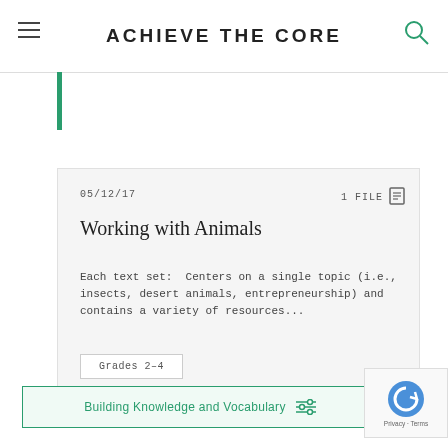ACHIEVE THE CORE
05/12/17   1 FILE
Working with Animals
Each text set:  Centers on a single topic (i.e., insects, desert animals, entrepreneurship) and contains a variety of resources...
Grades 2–4
Building Knowledge and Vocabulary